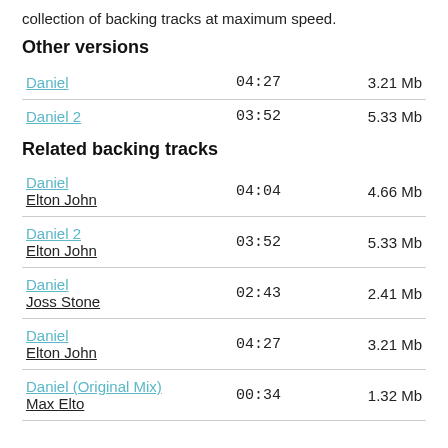collection of backing tracks at maximum speed.
Other versions
| Title | Time | Size |
| --- | --- | --- |
| Daniel | 04:27 | 3.21 Mb |
| Daniel 2 | 03:52 | 5.33 Mb |
Related backing tracks
| Title / Artist | Time | Size |
| --- | --- | --- |
| Daniel
Elton John | 04:04 | 4.66 Mb |
| Daniel 2
Elton John | 03:52 | 5.33 Mb |
| Daniel
Joss Stone | 02:43 | 2.41 Mb |
| Daniel
Elton John | 04:27 | 3.21 Mb |
| Daniel (Original Mix)
Max Elto | 00:34 | 1.32 Mb |